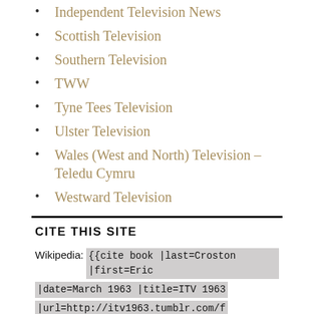Independent Television News
Scottish Television
Southern Television
TWW
Tyne Tees Television
Ulster Television
Wales (West and North) Television – Teledu Cymru
Westward Television
CITE THIS SITE
Wikipedia: {{cite book |last=Croston |first=Eric |date=March 1963 |title=ITV 1963 |url=http://itv1963.tumblr.com/f